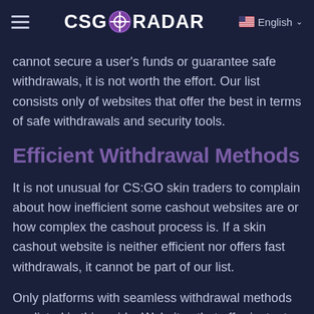CSGORADAR | English
The first element on our CS:GO website is offering security and reliability to its customers. If a website cannot secure a user's funds or guarantee safe withdrawals, it is not worth the effort. Our list consists only of websites that offer the best in terms of safe withdrawals and security tools.
Efficient Withdrawal Methods
It is not unusual for CS:GO skin traders to complain about how inefficient some cashout websites are or how complex the cashout process is. If a skin cashout website is neither efficient nor offers fast withdrawals, it cannot be part of our list.
Only platforms with seamless withdrawal methods are listed in this guide. Websites that offer instant cashouts are ranked even higher.